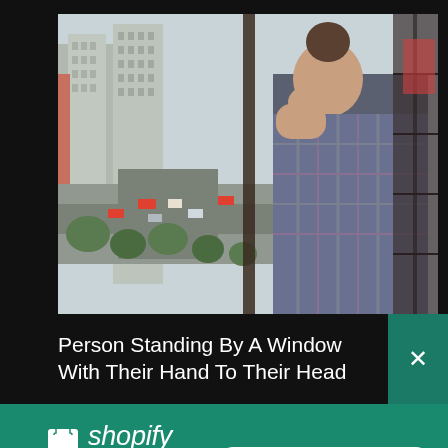[Figure (photo): Person standing by a window with their hand to their head, leaning against the wall with arms crossed, looking out over a cityscape with buildings, roads, and trees visible through the window.]
Person Standing By A Window With Their Hand To Their Head
[Figure (logo): Shopify logo: shopping bag icon in white with the Shopify wordmark in white italic text on a teal/green background.]
Need an online store for your business?
Start free trial